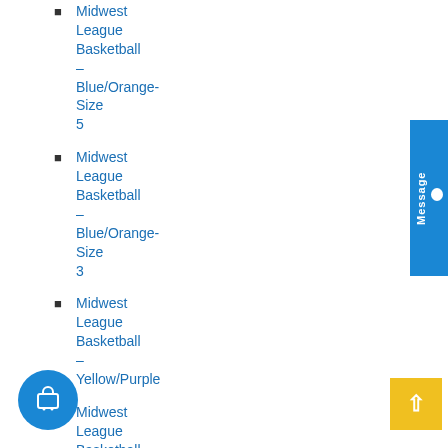Midwest League Basketball – Blue/Orange- Size 5
Midwest League Basketball – Blue/Orange- Size 3
Midwest League Basketball – Yellow/Purple
Midwest League Basketball – Yellow/Purple- Size 3
Midwest